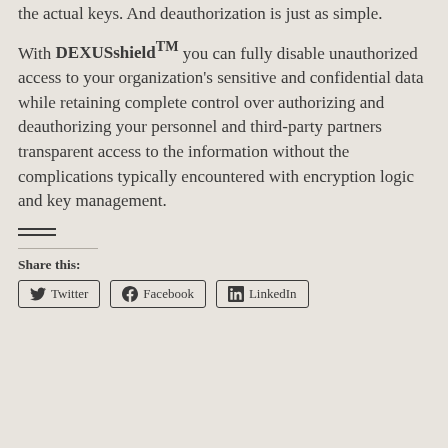the actual keys. And deauthorization is just as simple.
With DEXUSshield™ you can fully disable unauthorized access to your organization's sensitive and confidential data while retaining complete control over authorizing and deauthorizing your personnel and third-party partners transparent access to the information without the complications typically encountered with encryption logic and key management.
— (divider lines)
Share this: Twitter Facebook LinkedIn